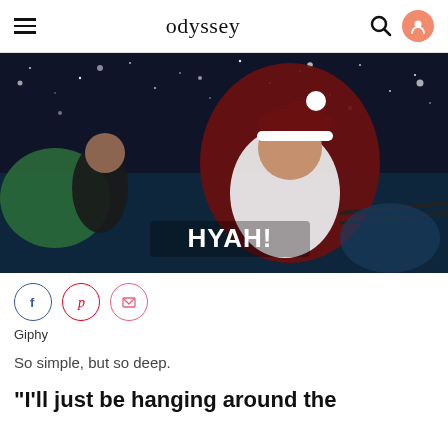odyssey
[Figure (photo): Santa Claus in a sleigh at night with snow, with a child beside him, showing the text 'HYAH!' on screen — a GIF from Giphy]
Giphy
So simple, but so deep.
"I'll just be hanging around the